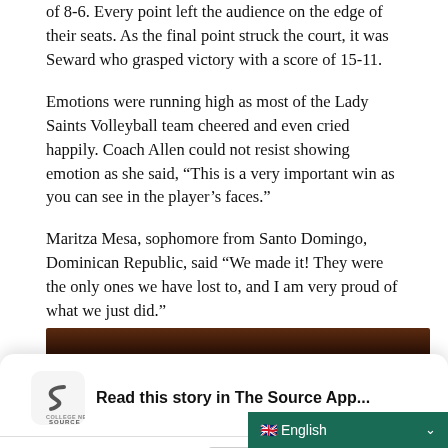of 8-6. Every point left the audience on the edge of their seats. As the final point struck the court, it was Seward who grasped victory with a score of 15-11.
Emotions were running high as most of the Lady Saints Volleyball team cheered and even cried happily. Coach Allen could not resist showing emotion as she said, “This is a very important win as you can see in the player’s faces.”
Maritza Mesa, sophomore from Santo Domingo, Dominican Republic, said “We made it! They were the only ones we have lost to, and I am very proud of what we just did.”
[Figure (photo): Partial view of a dark-toned indoor sports venue or gymnasium, partially obscured by the app promotion overlay.]
Read this story in The Source App...
Open App
Continue in browser
🇬🇧 English